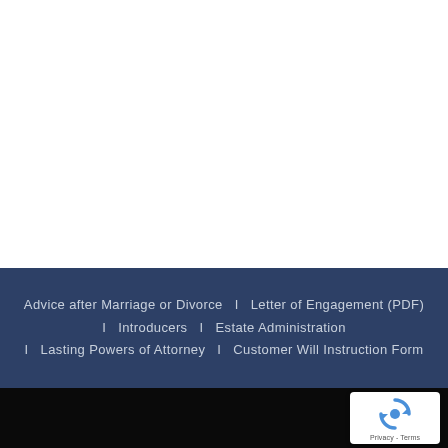Advice after Marriage or Divorce  |  Letter of Engagement (PDF)  |  Introducers  |  Estate Administration  |  Lasting Powers of Attorney  |  Customer Will Instruction Form
[Figure (logo): reCAPTCHA badge with rotating arrows icon and Privacy - Terms text]